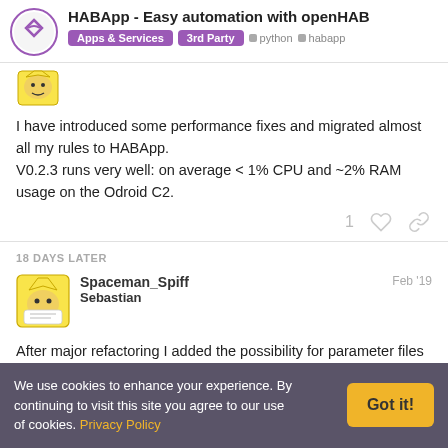HABApp - Easy automation with openHAB | Apps & Services | 3rd Party | python | habapp
[Figure (logo): Small user avatar with cartoon character]
I have introduced some performance fixes and migrated almost all my rules to HABApp.
V0.2.3 runs very well: on average < 1% CPU and ~2% RAM usage on the Odroid C2.
18 DAYS LATER
[Figure (photo): Spaceman_Spiff Sebastian avatar - cartoon character with spiky hair]
Spaceman_Spiff Sebastian
Feb '19
After major refactoring I added the possibility for parameter files
We use cookies to enhance your experience. By continuing to visit this site you agree to our use of cookies. Privacy Policy